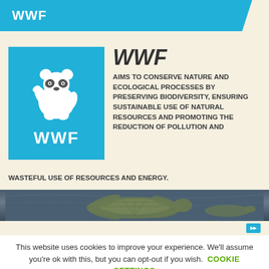WWF
[Figure (logo): WWF blue square logo with white panda bear illustration and WWF text below]
WWF
AIMS TO CONSERVE NATURE AND ECOLOGICAL PROCESSES BY PRESERVING BIODIVERSITY, ENSURING SUSTAINABLE USE OF NATURAL RESOURCES AND PROMOTING THE REDUCTION OF POLLUTION AND WASTEFUL USE OF RESOURCES AND ENERGY.
[Figure (photo): Sea turtle underwater photo strip]
This website uses cookies to improve your experience. We'll assume you're ok with this, but you can opt-out if you wish. COOKIE SETTINGS
ACCEPT